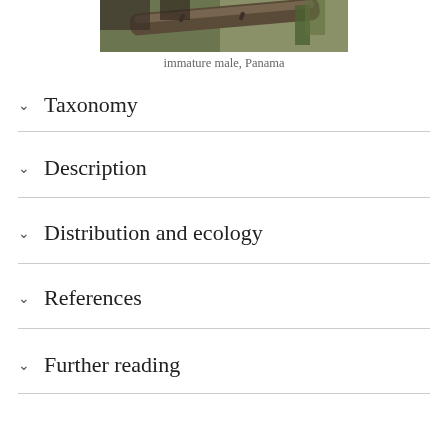[Figure (photo): Close-up photo of an immature male bird perched on a branch, taken in Panama]
immature male, Panama
Taxonomy
Description
Distribution and ecology
References
Further reading